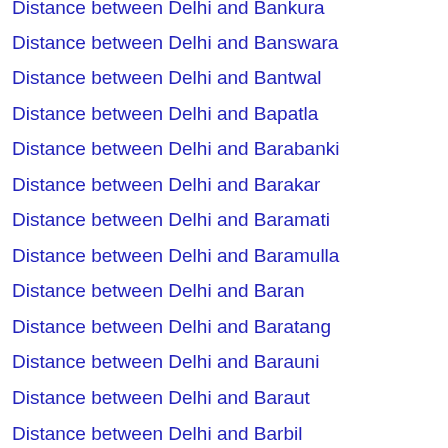Distance between Delhi and Bankura
Distance between Delhi and Banswara
Distance between Delhi and Bantwal
Distance between Delhi and Bapatla
Distance between Delhi and Barabanki
Distance between Delhi and Barakar
Distance between Delhi and Baramati
Distance between Delhi and Baramulla
Distance between Delhi and Baran
Distance between Delhi and Baratang
Distance between Delhi and Barauni
Distance between Delhi and Baraut
Distance between Delhi and Barbil
Distance between Delhi and Bardhaman
Distance between Delhi and Bardoli
Distance between Delhi and Bareilly
Distance between Delhi and Bargah
Distance between Delhi and Bargarh
Distance between Delhi and Bargi